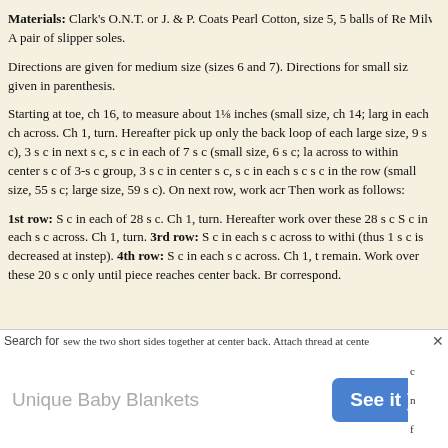Materials: Clark's O.N.T. or J. & P. Coats Pearl Cotton, size 5, 5 balls of Red. Milward's steel crochet hook No. 8.
A pair of slipper soles.
Directions are given for medium size (sizes 6 and 7). Directions for small size are given in parenthesis.
Starting at toe, ch 16, to measure about 1⅛ inches (small size, ch 14; large ... in each ch across. Ch 1, turn. Hereafter pick up only the back loop of each s... large size, 9 s c), 3 s c in next s c, s c in each of 7 s c (small size, 6 s c; lar... across to within center s c of 3-s c group, 3 s c in center s c, s c in each s c a... s c in the row (small size, 55 s c; large size, 59 s c). On next row, work acro... Then work as follows:
1st row: S c in each of 28 s c. Ch 1, turn. Hereafter work over these 28 s c o... S c in each s c across. Ch 1, turn. 3rd row: S c in each s c across to within... (thus 1 s c is decreased at instep). 4th row: S c in each s c across. Ch 1, tu... remain. Work over these 20 s c only until piece reaches center back. Bre... correspond.
sew the two short sides together at center back. Attach thread at center...
[Figure (screenshot): Advertisement banner showing 'Unique Baby Blankets' with a blue 'See it >' button]